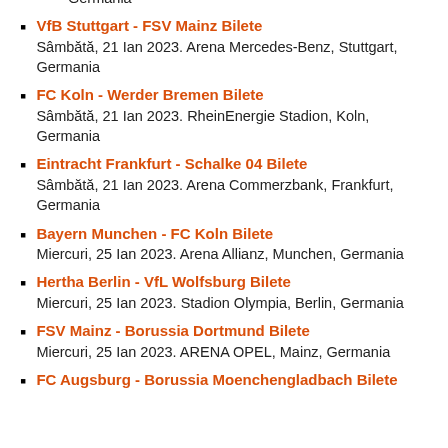Germania
VfB Stuttgart - FSV Mainz Bilete
Sâmbătă, 21 Ian 2023. Arena Mercedes-Benz, Stuttgart, Germania
FC Koln - Werder Bremen Bilete
Sâmbătă, 21 Ian 2023. RheinEnergie Stadion, Koln, Germania
Eintracht Frankfurt - Schalke 04 Bilete
Sâmbătă, 21 Ian 2023. Arena Commerzbank, Frankfurt, Germania
Bayern Munchen - FC Koln Bilete
Miercuri, 25 Ian 2023. Arena Allianz, Munchen, Germania
Hertha Berlin - VfL Wolfsburg Bilete
Miercuri, 25 Ian 2023. Stadion Olympia, Berlin, Germania
FSV Mainz - Borussia Dortmund Bilete
Miercuri, 25 Ian 2023. ARENA OPEL, Mainz, Germania
FC Augsburg - Borussia Moenchengladbach Bilete